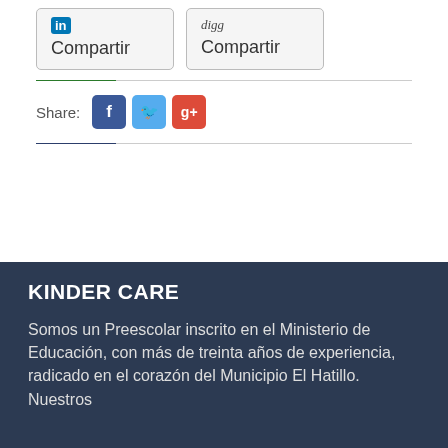[Figure (screenshot): LinkedIn Compartir button with blue LinkedIn logo icon]
[Figure (screenshot): Digg Compartir button with digg logo text]
Share:
[Figure (infographic): Social share buttons: Facebook (blue), Twitter (light blue), Google+ (red)]
KINDER CARE
Somos un Preescolar inscrito en el Ministerio de Educación, con más de treinta años de experiencia, radicado en el corazón del Municipio El Hatillo. Nuestros